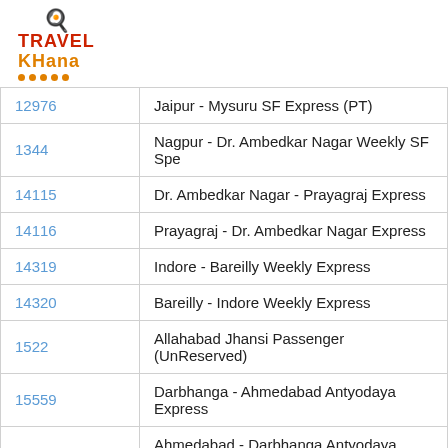[Figure (logo): Travel Khana logo with chef hat icon and orange/red text]
| Train No. | Train Name |
| --- | --- |
| 12976 | Jaipur - Mysuru SF Express (PT) |
| 1344 | Nagpur - Dr. Ambedkar Nagar Weekly SF Spe |
| 14115 | Dr. Ambedkar Nagar - Prayagraj Express |
| 14116 | Prayagraj - Dr. Ambedkar Nagar Express |
| 14319 | Indore - Bareilly Weekly Express |
| 14320 | Bareilly - Indore Weekly Express |
| 1522 | Allahabad Jhansi Passenger (UnReserved) |
| 15559 | Darbhanga - Ahmedabad Antyodaya Express |
| 15560 | Ahmedabad - Darbhanga Antyodaya Express |
| 16863 | Bhagat Ki Kothi - Mannargudi SF Express |